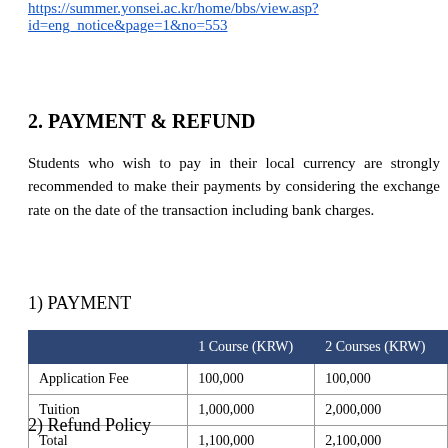https://summer.yonsei.ac.kr/home/bbs/view.asp?id=eng_notice&page=1&no=553
2. PAYMENT & REFUND
Students who wish to pay in their local currency are strongly recommended to make their payments by considering the exchange rate on the date of the transaction including bank charges.
1) PAYMENT
|  | 1 Course (KRW) | 2 Courses (KRW) |
| --- | --- | --- |
| Application Fee | 100,000 | 100,000 |
| Tuition | 1,000,000 | 2,000,000 |
| Total | 1,100,000 | 2,100,000 |
2) Refund Policy